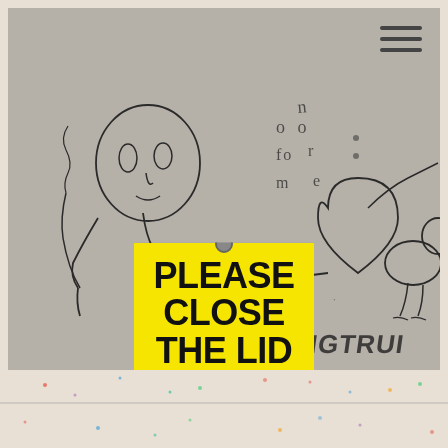[Figure (illustration): A photograph of a gray wall with hand-drawn sketches in pencil/marker. Shows a reclining female figure holding a cigarette/stick, with text bubbles reading 'o o n fo r m e', a heart shape, and a bird-like figure on the right. Graffiti text reads 'KNGTRUI' in the lower right. A yellow sign reading 'PLEASE CLOSE THE LID' is pinned to the lower center of the wall. A hamburger menu icon appears in the top right corner.]